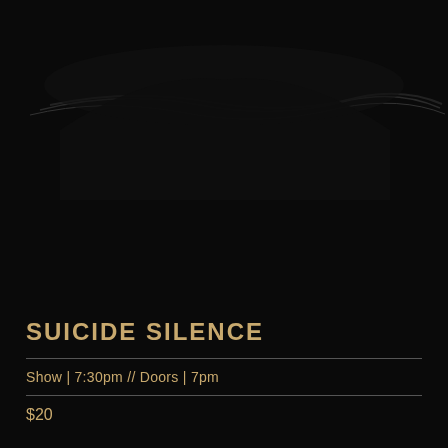[Figure (photo): Dark concert/band silhouette image with faint line-art style guitar or band members against a black background]
TUES, SEPT 06
SUICIDE SILENCE
Show | 7:30pm // Doors | 7pm
$20